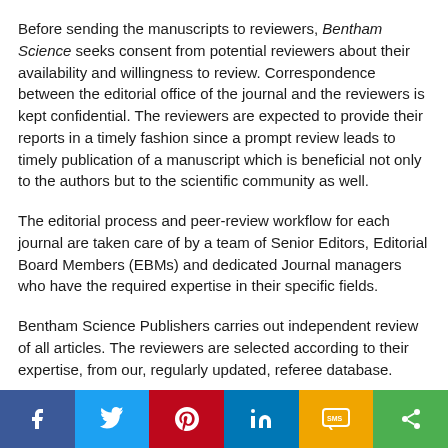Before sending the manuscripts to reviewers, Bentham Science seeks consent from potential reviewers about their availability and willingness to review. Correspondence between the editorial office of the journal and the reviewers is kept confidential. The reviewers are expected to provide their reports in a timely fashion since a prompt review leads to timely publication of a manuscript which is beneficial not only to the authors but to the scientific community as well.
The editorial process and peer-review workflow for each journal are taken care of by a team of Senior Editors, Editorial Board Members (EBMs) and dedicated Journal managers who have the required expertise in their specific fields.
Bentham Science Publishers carries out independent review of all articles. The reviewers are selected according to their expertise, from our, regularly updated, referee database.
On the basis of reviewer comments, the Editors may recommend acceptance, revision or rejection of a manuscript.
After review of the manuscript by at least three